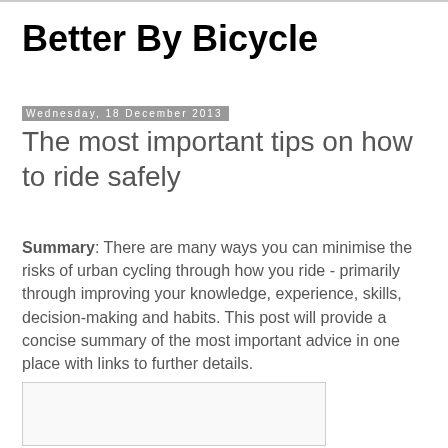Better By Bicycle
Wednesday, 18 December 2013
The most important tips on how to ride safely
Summary: There are many ways you can minimise the risks of urban cycling through how you ride - primarily through improving your knowledge, experience, skills, decision-making and habits. This post will provide a concise summary of the most important advice in one place with links to further details.
[Figure (other): White rectangular image placeholder with light border]